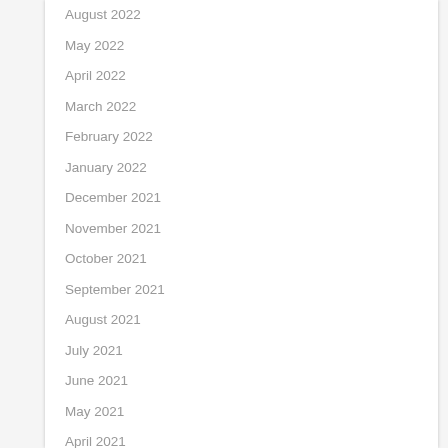August 2022
May 2022
April 2022
March 2022
February 2022
January 2022
December 2021
November 2021
October 2021
September 2021
August 2021
July 2021
June 2021
May 2021
April 2021